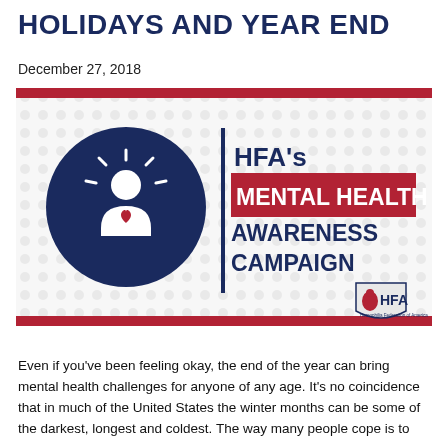HOLIDAYS AND YEAR END
December 27, 2018
[Figure (illustration): HFA's Mental Health Awareness Campaign banner with dark blue circle containing a person silhouette with a heart icon and radiating lines, beside text 'HFA's MENTAL HEALTH AWARENESS CAMPAIGN' on a light dotted background with red accent bar at top and bottom, and HFA logo at bottom right.]
Even if you've been feeling okay, the end of the year can bring mental health challenges for anyone of any age.  It's no coincidence that in much of the United States the winter months can be some of the darkest, longest and coldest. The way many people cope is to